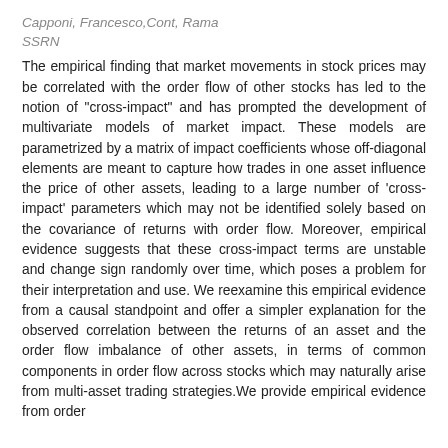Capponi, Francesco,Cont, Rama
SSRN
The empirical finding that market movements in stock prices may be correlated with the order flow of other stocks has led to the notion of "cross-impact" and has prompted the development of multivariate models of market impact. These models are parametrized by a matrix of impact coefficients whose off-diagonal elements are meant to capture how trades in one asset influence the price of other assets, leading to a large number of 'cross-impact' parameters which may not be identified solely based on the covariance of returns with order flow. Moreover, empirical evidence suggests that these cross-impact terms are unstable and change sign randomly over time, which poses a problem for their interpretation and use. We reexamine this empirical evidence from a causal standpoint and offer a simpler explanation for the observed correlation between the returns of an asset and the order flow imbalance of other assets, in terms of common components in order flow across stocks which may naturally arise from multi-asset trading strategies.We provide empirical evidence from order